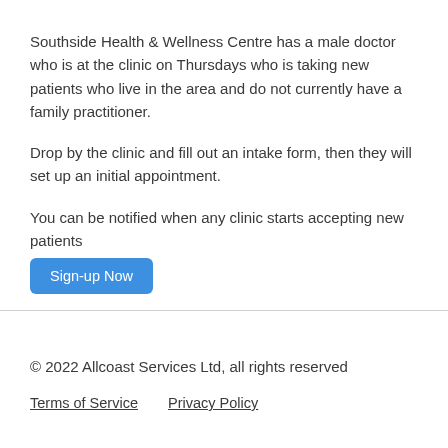Southside Health & Wellness Centre has a male doctor who is at the clinic on Thursdays who is taking new patients who live in the area and do not currently have a family practitioner.
Drop by the clinic and fill out an intake form, then they will set up an initial appointment.
You can be notified when any clinic starts accepting new patients Sign-up Now
© 2022 Allcoast Services Ltd, all rights reserved
Terms of Service    Privacy Policy